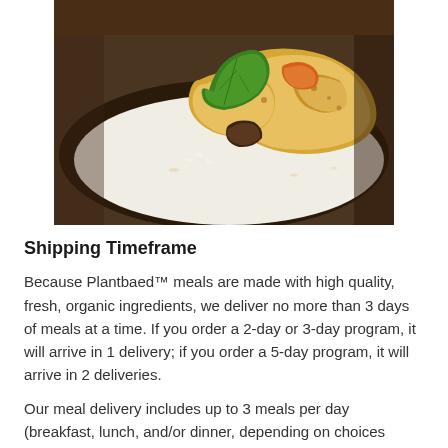[Figure (photo): A plate of tempura-battered fried food (shrimp and vegetables) with a dark ceramic plate, close-up food photography]
Shipping Timeframe
Because Plantbaed™ meals are made with high quality, fresh, organic ingredients, we deliver no more than 3 days of meals at a time. If you order a 2-day or 3-day program, it will arrive in 1 delivery; if you order a 5-day program, it will arrive in 2 deliveries.
Our meal delivery includes up to 3 meals per day (breakfast, lunch, and/or dinner, depending on choices available in your location) and your chosen meal plan or catering service. Our meals are specially crafted and